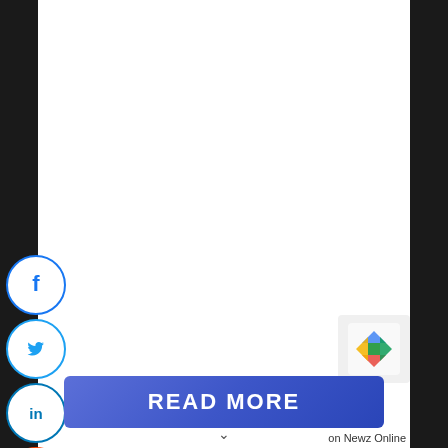[Figure (infographic): Social media share icons arranged vertically: Facebook (blue circle with f), Twitter (blue circle with bird), LinkedIn (blue circle with in), Reddit (orange circle with alien mascot), Email (gray circle with envelope)]
[Figure (other): READ MORE button in blue/purple gradient, and reCAPTCHA logo in bottom right corner, with 'on Newz Online' text label]
on Newz Online